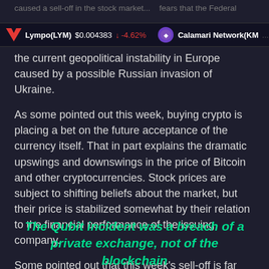caused a sell-off in the stock market... fears that the Federal
Lympo(LYM) $0.004383 ↓ -4.62%   Calamari Network(KM...
the current geopolitical instability in Europe caused by a possible Russian invasion of Ukraine.
As some pointed out this week, buying crypto is placing a bet on the future acceptance of the currency itself. That in part explains the dramatic upswings and downswings in the price of Bitcoin and other cryptocurrencies. Stock prices are subject to shifting beliefs about the market, but their price is stabilized somewhat by their relation to the financial performance of the issuing company.
Some pointed out that this week's sell-off is far from the first and will not be the last.
The Qubit incident was a breach of a private exchange, not of the blockchain